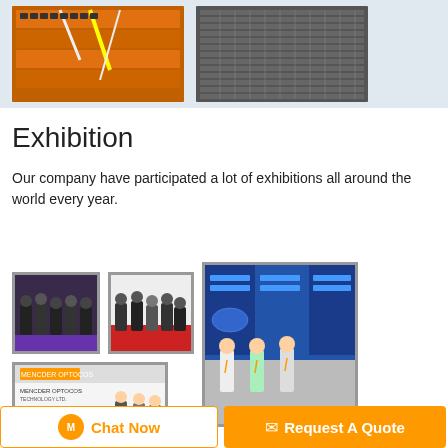[Figure (photo): Two product photos: left shows orange network switches with cables, right shows a gray rack-mounted equipment panel]
Exhibition
Our company have participated a lot of exhibitions all around the world every year.
[Figure (photo): Exhibition photo 1: Group of people standing at a trade show booth]
[Figure (photo): Exhibition photo 2: Group of people at exhibition booth with products displayed]
[Figure (photo): Exhibition photo 3: Large exhibition booth with blue banners and three people posing]
[Figure (photo): Exhibition photo 4: MENCDER OPTOCOS booth with product displays and people]
Chat Now
Request A Quote